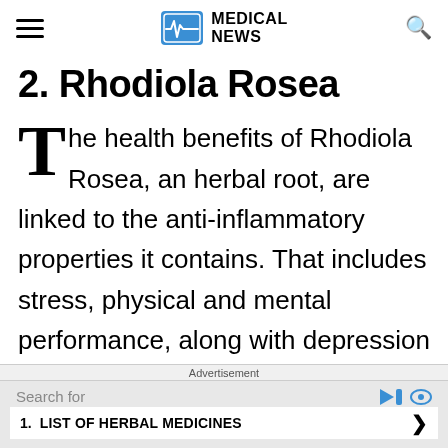MEDICAL NEWS
2. Rhodiola Rosea
The health benefits of Rhodiola Rosea, an herbal root, are linked to the anti-inflammatory properties it contains. That includes stress, physical and mental performance, along with depression and anxiety. People also use it to treat stress-induced eating disorders. Rhodiola Rosea.
Advertisement
Search for
1. LIST OF HERBAL MEDICINES